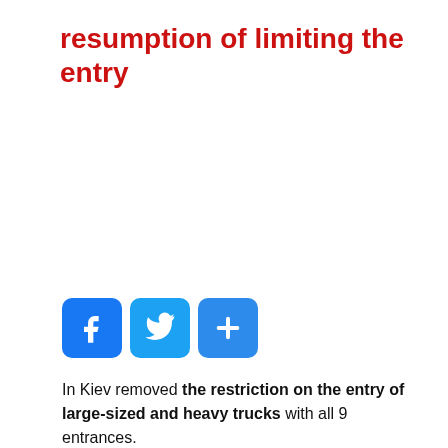resumption of limiting the entry
[Figure (other): Social sharing buttons: Facebook, Twitter, and a generic share button]
In Kiev removed the restriction on the entry of large-sized and heavy trucks with all 9 entrances.
This was reported in the press service of Kyiv city state administration.